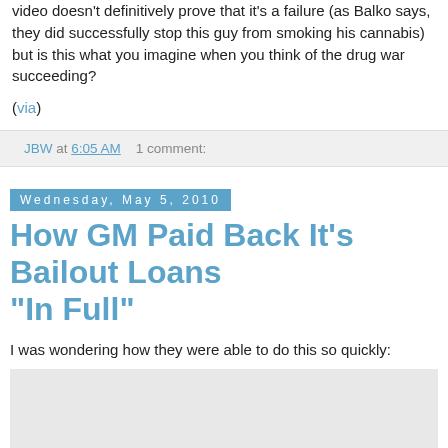video doesn't definitively prove that it's a failure (as Balko says, they did successfully stop this guy from smoking his cannabis) but is this what you imagine when you think of the drug war succeeding?
(via)
JBW at 6:05 AM    1 comment:
Wednesday, May 5, 2010
How GM Paid Back It's Bailout Loans "In Full"
I was wondering how they were able to do this so quickly:
[Figure (other): Embedded plugin area showing 'Couldn't load plugin.' message]